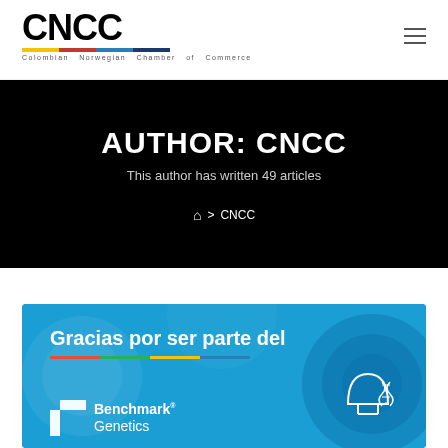CNCC — Colombian Norwegian Chamber of Commerce
AUTHOR: CNCC
This author has written 49 articles
🏠 > CNCC
[Figure (illustration): Promotional banner for Benchmark Genetics with blue water background, bold white text reading 'Gracias por ser parte del', colored stripe underline, Benchmark Genetics logo with arrow icon, and a dome/genetics icon on the right]